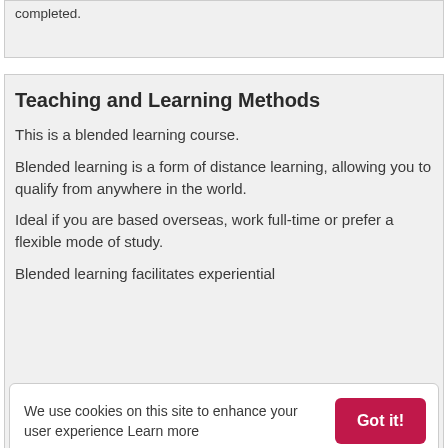completed.
Teaching and Learning Methods
This is a blended learning course.
Blended learning is a form of distance learning, allowing you to qualify from anywhere in the world.
Ideal if you are based overseas, work full-time or prefer a flexible mode of study.
Blended learning facilitates experiential
We use cookies on this site to enhance your user experience Learn more
There are no scheduled lessons for this